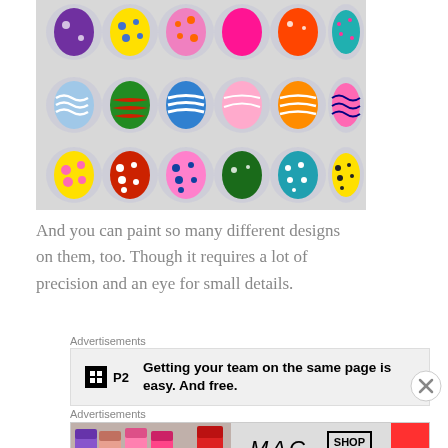[Figure (photo): A photo of many colorful painted Easter egg-shaped glass cabochons arranged in rows. Each one has a different design including polka dots, stripes, waves, and floral patterns in bright colors like red, yellow, green, blue, pink, and orange.]
And you can paint so many different designs on them, too. Though it requires a lot of precision and an eye for small details.
Advertisements
[Figure (screenshot): Advertisement banner for P2 product with text: Getting your team on the same page is easy. And free.]
Advertisements
[Figure (screenshot): MAC cosmetics advertisement showing lipsticks and SHOP NOW button.]